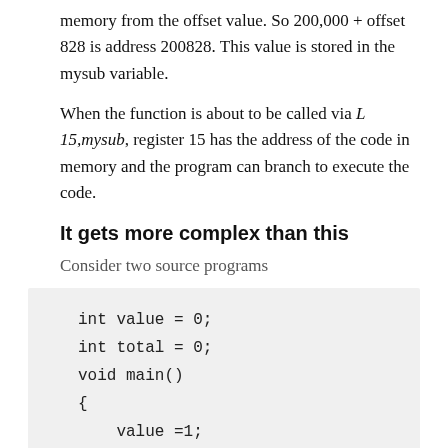memory from the offset value. So 200,000 + offset 828 is address 200828. This value is stored in the mysub variable.
When the function is about to be called via L 15,mysub, register 15 has the address of the code in memory and the program can branch to execute the code.
It gets more complex than this
Consider two source programs
int value = 0;
int total = 0;
void main()
{
    value =1;